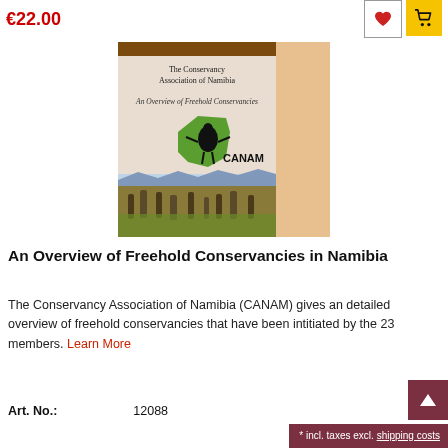€22.00
[Figure (illustration): Book cover: An Overview of Freehold Conservancies in Namibia by The Conservancy Association of Namibia (CANAM), featuring a vulture logo on a green map of Namibia and a photo of oryx/eland in grassland]
An Overview of Freehold Conservancies in Namibia
The Conservancy Association of Namibia (CANAM) gives an detailed overview of freehold conservancies that have been intitiated by the 23 members. Learn More
Art. No.: 12088
* incl. taxes excl. shipping costs